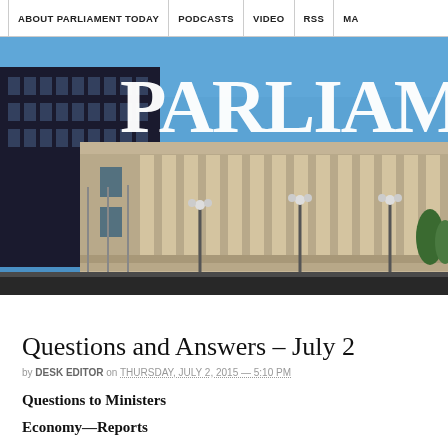ABOUT PARLIAMENT TODAY | PODCASTS | VIDEO | RSS | MA
[Figure (photo): Photograph of New Zealand Parliament buildings with 'PARLIAME' (Parliament Today) title text overlaid in large white bold serif font. The photo shows a classical stone neoclassical building (the Beehive and Parliament House area) under a bright blue sky with street lamps visible.]
Questions and Answers – July 2
by DESK EDITOR on THURSDAY, JULY 2, 2015 — 5:10 PM
Questions to Ministers
Economy—Reports